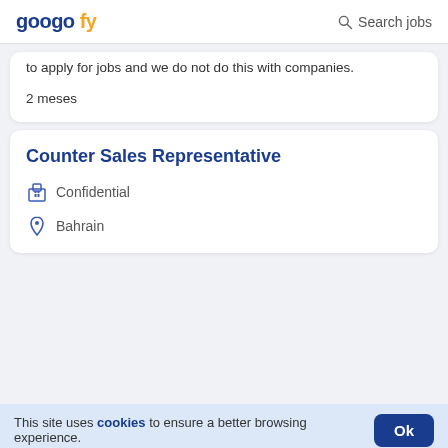googofy — Search jobs
to apply for jobs and we do not do this with companies.

2 meses
Counter Sales Representative
Confidential
Bahrain
This site uses cookies to ensure a better browsing experience.